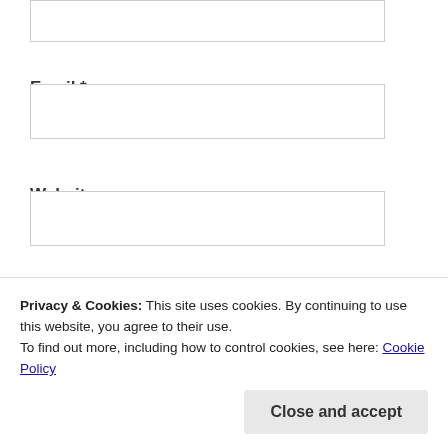Email *
Website
POST COMMENT
Privacy & Cookies: This site uses cookies. By continuing to use this website, you agree to their use.
To find out more, including how to control cookies, see here: Cookie Policy
Close and accept